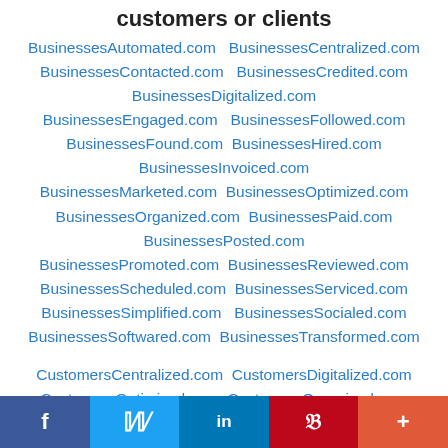customers or clients
BusinessesAutomated.com  BusinessesCentralized.com
BusinessesContacted.com  BusinessesCredited.com
BusinessesDigitalized.com
BusinessesEngaged.com  BusinessesFollowed.com
BusinessesFound.com  BusinessesHired.com
BusinessesInvoiced.com
BusinessesMarketed.com  BusinessesOptimized.com
BusinessesOrganized.com  BusinessesPaid.com
BusinessesPosted.com
BusinessesPromoted.com  BusinessesReviewed.com
BusinessesScheduled.com  BusinessesServiced.com
BusinessesSimplified.com  BusinessesSocialed.com
BusinessesSoftwared.com  BusinessesTransformed.com
CustomersCentralized.com  CustomersDigitalized.com
CustomersOptimized.com  CustomersOrganized.com
CustomersScheduled.com  CustomersServiced.com
f  Twitter  in  Pinterest  +